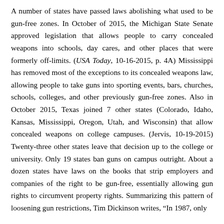A number of states have passed laws abolishing what used to be gun-free zones. In October of 2015, the Michigan State Senate approved legislation that allows people to carry concealed weapons into schools, day cares, and other places that were formerly off-limits. (USA Today, 10-16-2015, p. 4A) Mississippi has removed most of the exceptions to its concealed weapons law, allowing people to take guns into sporting events, bars, churches, schools, colleges, and other previously gun-free zones. Also in October 2015, Texas joined 7 other states (Colorado, Idaho, Kansas, Mississippi, Oregon, Utah, and Wisconsin) that allow concealed weapons on college campuses. (Jervis, 10-19-2015) Twenty-three other states leave that decision up to the college or university. Only 19 states ban guns on campus outright. About a dozen states have laws on the books that strip employers and companies of the right to be gun-free, essentially allowing gun rights to circumvent property rights. Summarizing this pattern of loosening gun restrictions, Tim Dickinson writes, "In 1987, only